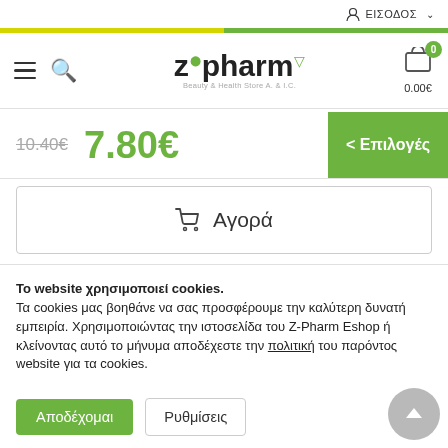ΕΙΣΟΔΟΣ
[Figure (screenshot): Z-Pharm logo with shopping cart showing 0 items and 0.00€]
10.40€  7.80€
< Επιλογές
🛒 Αγορά
Το website χρησιμοποιεί cookies.
Τα cookies μας βοηθάνε να σας προσφέρουμε την καλύτερη δυνατή εμπειρία. Χρησιμοποιώντας την ιστοσελίδα του Z-Pharm Eshop ή κλείνοντας αυτό το μήνυμα αποδέχεστε την πολιτική του παρόντος website για τα cookies.
Αποδέχομαι
Ρυθμίσεις